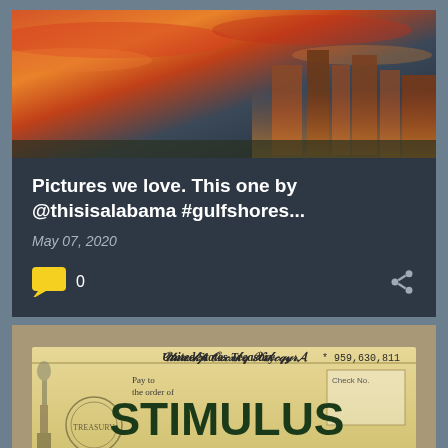[Figure (photo): Sunset cityscape photo of Gulf Shores with orange and pink sky and tall buildings]
Pictures we love. This one by @thisisalabama #gulfshores...
May 07, 2020
0
[Figure (photo): United States Treasury stimulus payment check with large bold text reading STIMULUS PAYMENTS]